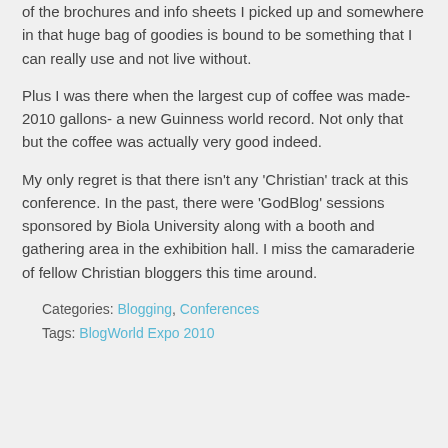of the brochures and info sheets I picked up and somewhere in that huge bag of goodies is bound to be something that I can really use and not live without.
Plus I was there when the largest cup of coffee was made-2010 gallons- a new Guinness world record. Not only that but the coffee was actually very good indeed.
My only regret is that there isn't any 'Christian' track at this conference. In the past, there were 'GodBlog' sessions sponsored by Biola University along with a booth and gathering area in the exhibition hall. I miss the camaraderie of fellow Christian bloggers this time around.
Categories: Blogging, Conferences
Tags: BlogWorld Expo 2010